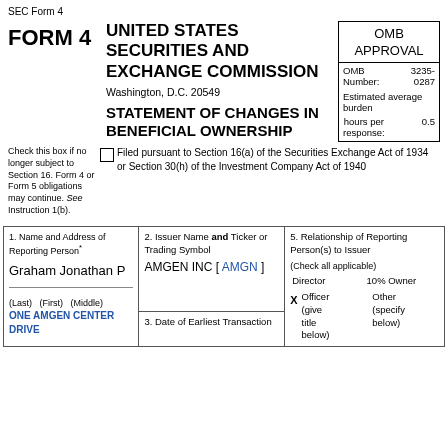SEC Form 4
FORM 4
UNITED STATES SECURITIES AND EXCHANGE COMMISSION
Washington, D.C. 20549
STATEMENT OF CHANGES IN BENEFICIAL OWNERSHIP
| OMB APPROVAL |
| OMB Number: | 3235-0287 |
| Estimated average burden hours per response: | 0.5 |
Check this box if no longer subject to Section 16. Form 4 or Form 5 obligations may continue. See Instruction 1(b).
Filed pursuant to Section 16(a) of the Securities Exchange Act of 1934 or Section 30(h) of the Investment Company Act of 1940
| Name and Address of Reporting Person | Issuer Name and Ticker or Trading Symbol | Relationship of Reporting Person(s) to Issuer |
| --- | --- | --- |
| Graham Jonathan P | AMGEN INC [ AMGN ] | Director / Officer (give title below) / 10% Owner / Other (specify below) |
| ONE AMGEN CENTER DRIVE | 3. Date of Earliest Transaction | X Officer (give title below) |